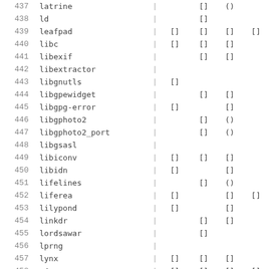| # | name | | | col1 | col2 | col3 | col4 |
| --- | --- | --- | --- | --- | --- | --- |
| 437 | latrine | | |  | [] | () |  |
| 438 | ld | | |  | [] |  |  |
| 439 | leafpad | | | [] | [] | [] | [] |
| 440 | libc | | | [] | [] | [] |  |
| 441 | libexif | | |  | [] | [] |  |
| 442 | libextractor | | |  |  |  |  |
| 443 | libgnutls | | | [] |  |  |  |
| 444 | libgpewidget | | |  | [] | [] |  |
| 445 | libgpg-error | | | [] |  | [] |  |
| 446 | libgphoto2 | | |  | [] | () |  |
| 447 | libgphoto2_port | | |  | [] | () |  |
| 448 | libgsasl | | |  |  |  |  |
| 449 | libiconv | | | [] | [] | [] |  |
| 450 | libidn | | | [] |  | [] |  |
| 451 | lifelines | | |  | [] | () |  |
| 452 | liferea | | | [] |  | [] | [] |
| 453 | lilypond | | | [] |  | [] |  |
| 454 | linkdr | | |  | [] | [] |  |
| 455 | lordsawar | | |  | [] |  |  |
| 456 | lprng | | |  |  |  |  |
| 457 | lynx | | | [] | [] | [] |  |
| 458 | m4 | | | [] | [] | [] | [] |